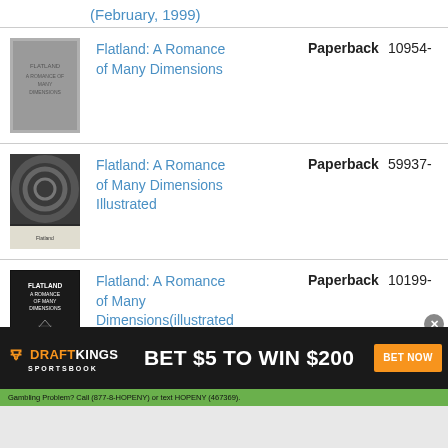(February, 1999)
Flatland: A Romance of Many Dimensions | Paperback | 10954...
Flatland: A Romance of Many Dimensions Illustrated | Paperback | 59937...
Flatland: A Romance of Many Dimensions(illustrated Edition) | Paperback | 10199...
[Figure (infographic): DraftKings Sportsbook advertisement: BET $5 TO WIN $200 with BET NOW button and disclaimer text]